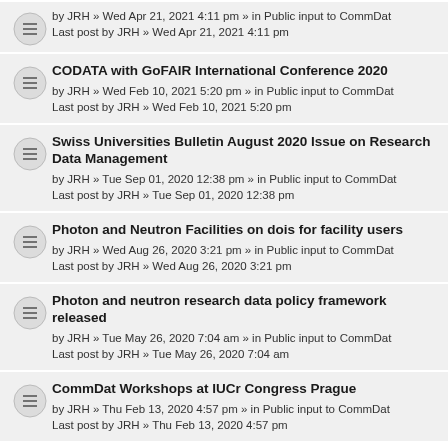by JRH » Wed Apr 21, 2021 4:11 pm » in Public input to CommDat
Last post by JRH » Wed Apr 21, 2021 4:11 pm
CODATA with GoFAIR International Conference 2020
by JRH » Wed Feb 10, 2021 5:20 pm » in Public input to CommDat
Last post by JRH » Wed Feb 10, 2021 5:20 pm
Swiss Universities Bulletin August 2020 Issue on Research Data Management
by JRH » Tue Sep 01, 2020 12:38 pm » in Public input to CommDat
Last post by JRH » Tue Sep 01, 2020 12:38 pm
Photon and Neutron Facilities on dois for facility users
by JRH » Wed Aug 26, 2020 3:21 pm » in Public input to CommDat
Last post by JRH » Wed Aug 26, 2020 3:21 pm
Photon and neutron research data policy framework released
by JRH » Tue May 26, 2020 7:04 am » in Public input to CommDat
Last post by JRH » Tue May 26, 2020 7:04 am
CommDat Workshops at IUCr Congress Prague
by JRH » Thu Feb 13, 2020 4:57 pm » in Public input to CommDat
Last post by JRH » Thu Feb 13, 2020 4:57 pm